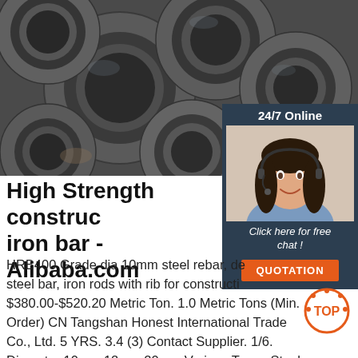[Figure (photo): Photo of multiple steel pipe tubes stacked together, showing circular cross-sections, gray metallic color]
[Figure (infographic): 24/7 Online sidebar with female customer service agent wearing headset, 'Click here for free chat!' text, and orange QUOTATION button]
High Strength construction iron bar - Alibaba.com
HRB400 Grade dia 10mm steel rebar, deformed steel bar, iron rods with rib for construction. $380.00-$520.20 Metric Ton. 1.0 Metric Tons (Min. Order) CN Tangshan Honest International Trade Co., Ltd. 5 YRS. 3.4 (3) Contact Supplier. 1/6. Diameter 10mm 12mm 20mm Various Types Steel Rebars Deformed Steel Bar Iron Rods For Construction Factory.